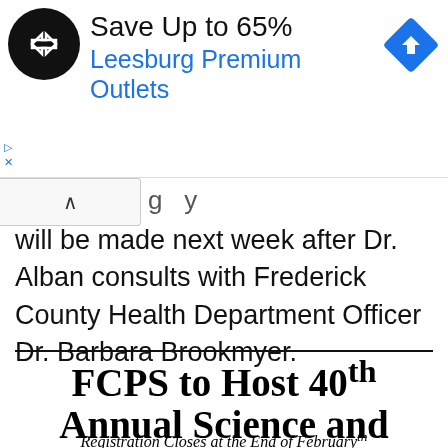[Figure (other): Advertisement banner: circular black logo with double arrow symbol, text 'Save Up to 65%' in black and 'Leesburg Premium Outlets' in blue, blue diamond navigation arrow icon on right, ad label indicators on left]
will be made next week after Dr. Alban consults with Frederick County Health Department Officer Dr. Barbara Brookmyer.
FCPS to Host 40th Annual Science and Engineering Fair
Registration Closes at the End of Februaryth